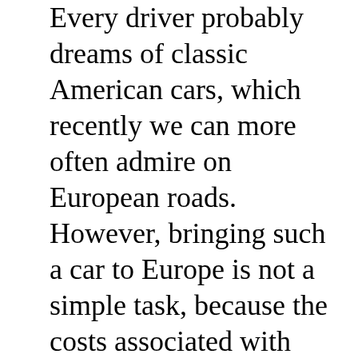Every driver probably dreams of classic American cars, which recently we can more often admire on European roads. However, bringing such a car to Europe is not a simple task, because the costs associated with logistics are too great for many people. Therefore, the only chance is to find your dream model on the car market. However, to get to Cadillac you have to be very lucky, so there is still a large percentage of people who decide to import. American cars are characterized by high durability and resistance to damage. Unfortunately, random situations can happen to anyone and that's why you should immediately